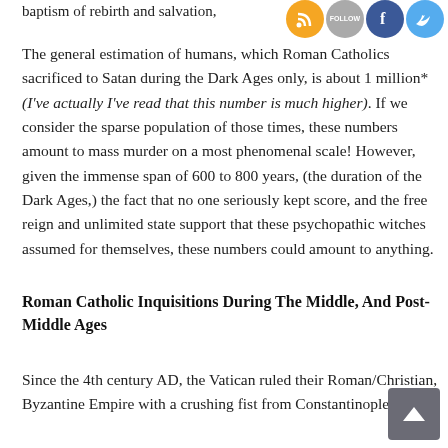baptism of rebirth and salvation,
[Figure (infographic): Social media icons: RSS feed (orange), Follow (gray), Facebook (blue), Twitter (blue)]
The general estimation of humans, which Roman Catholics sacrificed to Satan during the Dark Ages only, is about 1 million* (I've actually I've read that this number is much higher). If we consider the sparse population of those times, these numbers amount to mass murder on a most phenomenal scale! However, given the immense span of 600 to 800 years, (the duration of the Dark Ages,) the fact that no one seriously kept score, and the free reign and unlimited state support that these psychopathic witches assumed for themselves, these numbers could amount to anything.
Roman Catholic Inquisitions During The Middle, And Post-Middle Ages
Since the 4th century AD, the Vatican ruled their Roman/Christian, Byzantine Empire with a crushing fist from Constantinople in